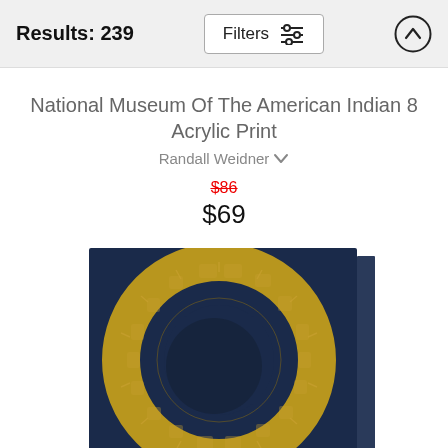Results: 239
National Museum Of The American Indian 8 Acrylic Print
Randall Weidner
$86 $69
[Figure (photo): Acrylic print of a circular golden ornamental artifact with Mayan/Aztec-style carvings displayed on a dark navy background, mounted on a thick acrylic block showing depth on the right edge.]